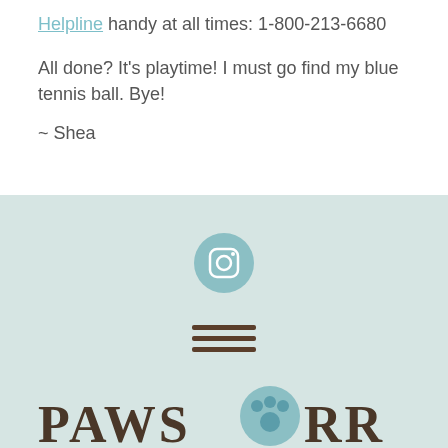Helpline handy at all times: 1-800-213-6680
All done? It's playtime! I must go find my blue tennis ball. Bye!
~ Shea
[Figure (logo): Instagram icon in a teal/muted blue circle, hamburger menu icon (three horizontal brown lines), and partial PAWSORR logo text with paw print graphic at bottom of teal footer section]